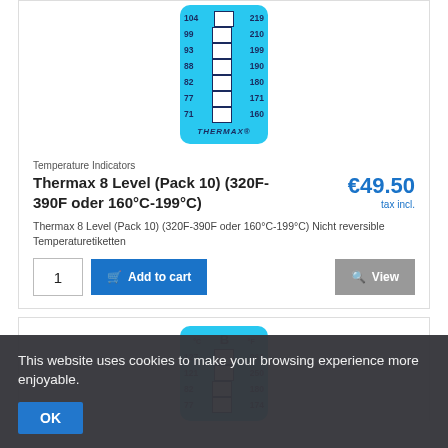[Figure (photo): Thermax 8 Level temperature indicator strip on cyan/blue background showing temperature readings: 104/219, 99/210, 93/199, 88/190, 82/180, 77/171, 71/160 with THERMAX logo at bottom]
Temperature Indicators
Thermax 8 Level (Pack 10) (320F-390F oder 160°C-199°C)
€49.50
tax incl.
Thermax 8 Level (Pack 10) (320F-390F oder 160°C-199°C) Nicht reversible Temperaturetiketten
1  Add to cart   View
[Figure (photo): Second Thermax temperature indicator strip on cyan background showing °C B °F header, with readings 127/261, 121/250, 82/180, 77/174]
This website uses cookies to make your browsing experience more enjoyable.
OK